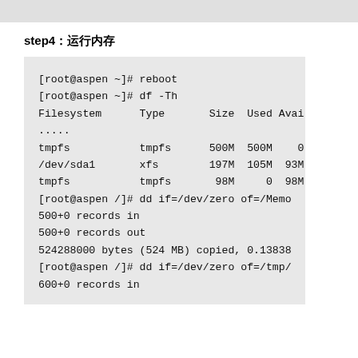step4：运行内存
[root@aspen ~]# reboot
[root@aspen ~]# df -Th
Filesystem      Type       Size  Used  Avai
.....
tmpfs           tmpfs      500M  500M     0
/dev/sda1       xfs        197M  105M   93M
tmpfs           tmpfs       98M     0   98M
[root@aspen /]# dd if=/dev/zero of=/Memo
500+0 records in
500+0 records out
524288000 bytes (524 MB) copied, 0.13838
[root@aspen /]# dd if=/dev/zero of=/tmp/
600+0 records in